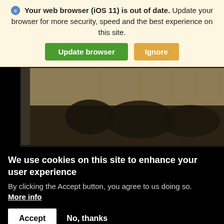Your web browser (iOS 11) is out of date. Update your browser for more security, speed and the best experience on this site.
[Figure (screenshot): A sepia-toned historical photograph showing a group of people, possibly military or naval personnel, standing near industrial equipment or a port with tall structures/masts in the background. The image is displayed on a black background.]
We use cookies on this site to enhance your user experience
By clicking the Accept button, you agree to us doing so.
More info